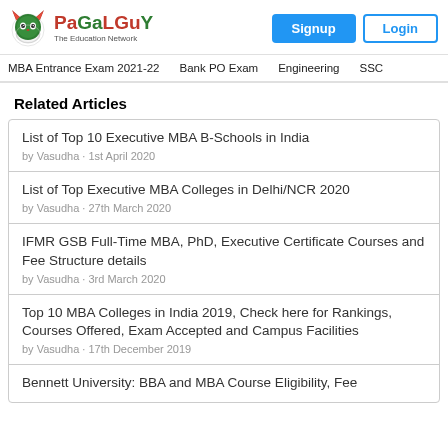PaGaLGuY - The Education Network
MBA Entrance Exam 2021-22  Bank PO Exam  Engineering  SSC
Related Articles
List of Top 10 Executive MBA B-Schools in India
by Vasudha · 1st April 2020
List of Top Executive MBA Colleges in Delhi/NCR 2020
by Vasudha · 27th March 2020
IFMR GSB Full-Time MBA, PhD, Executive Certificate Courses and Fee Structure details
by Vasudha · 3rd March 2020
Top 10 MBA Colleges in India 2019, Check here for Rankings, Courses Offered, Exam Accepted and Campus Facilities
by Vasudha · 17th December 2019
Bennett University: BBA and MBA Course Eligibility, Fee